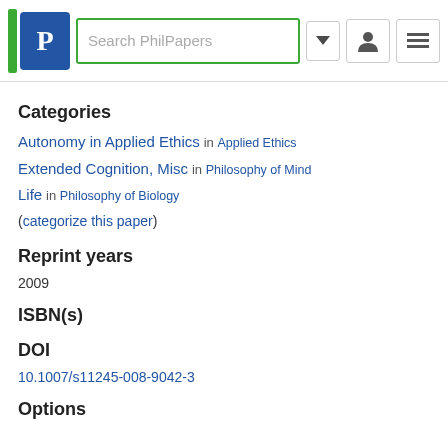Search PhilPapers
Categories
Autonomy in Applied Ethics in Applied Ethics
Extended Cognition, Misc in Philosophy of Mind
Life in Philosophy of Biology
(categorize this paper)
Reprint years
2009
ISBN(s)
DOI
10.1007/s11245-008-9042-3
Options